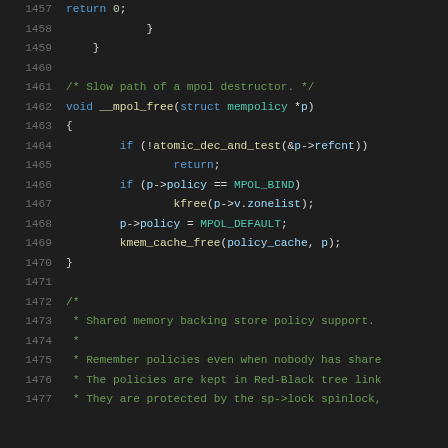Code listing lines 1457-1477, C source code for Linux kernel memory policy functions including __mpol_free and shared memory backing store policy comments.